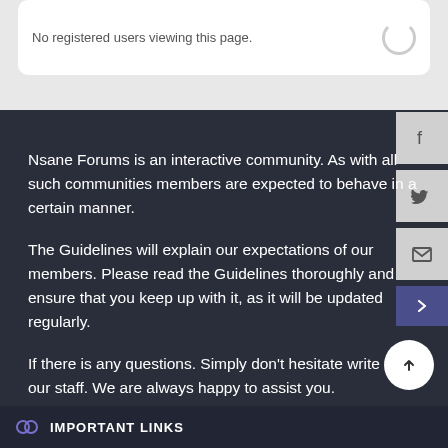No registered users viewing this page.
Nsane Forums is an interactive community. As with all such communities members are expected to behave in a certain manner.

The Guidelines will explain our expectations of our members. Please read the Guidelines thoroughly and ensure that you keep up with it, as it will be updated regularly.

If there is any questions. Simply don't hesitate write to our staff. We are always happy to assist you.
IMPORTANT LINKS